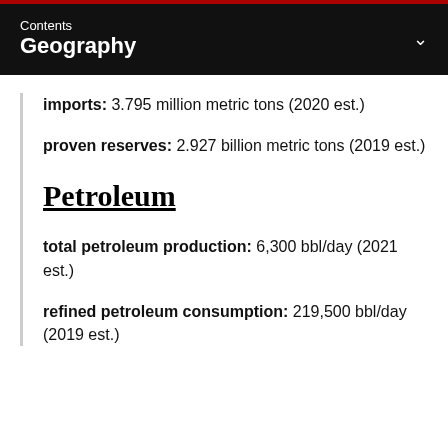Contents
Geography
imports: 3.795 million metric tons (2020 est.)
proven reserves: 2.927 billion metric tons (2019 est.)
Petroleum
total petroleum production: 6,300 bbl/day (2021 est.)
refined petroleum consumption: 219,500 bbl/day (2019 est.)